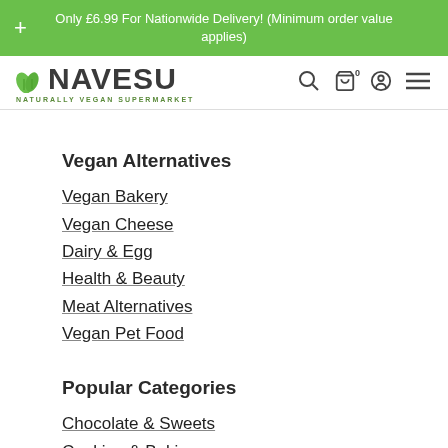Only £6.99 For Nationwide Delivery! (Minimum order value applies)
[Figure (logo): NAVESU - Naturally Vegan Supermarket logo with green leaves]
Vegan Alternatives
Vegan Bakery
Vegan Cheese
Dairy & Egg
Health & Beauty
Meat Alternatives
Vegan Pet Food
Popular Categories
Chocolate & Sweets
Cooking & Baking
Pasta, Rice & Noodles